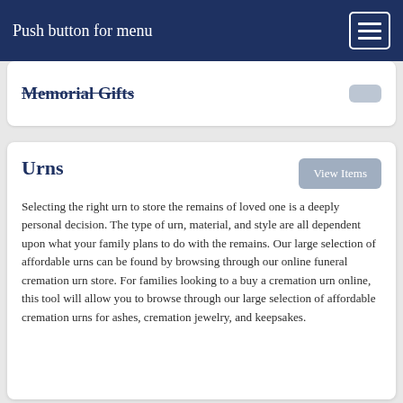Push button for menu
Memorial Gifts
Urns
Selecting the right urn to store the remains of loved one is a deeply personal decision. The type of urn, material, and style are all dependent upon what your family plans to do with the remains. Our large selection of affordable urns can be found by browsing through our online funeral cremation urn store. For families looking to a buy a cremation urn online, this tool will allow you to browse through our large selection of affordable cremation urns for ashes, cremation jewelry, and keepsakes.